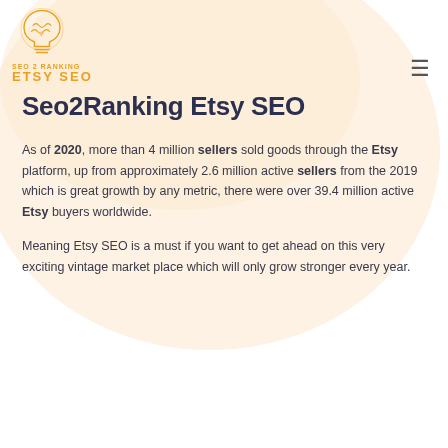[Figure (logo): SEO 2 Ranking Etsy SEO logo — lightbulb icon with brain motif in orange/gold outline, text 'SEO 2 RANKING' and 'ETSY SEO' in orange-gold bold letters]
Seo2Ranking Etsy SEO
As of 2020, more than 4 million sellers sold goods through the Etsy platform, up from approximately 2.6 million active sellers from the 2019 which is great growth by any metric, there were over 39.4 million active Etsy buyers worldwide.
Meaning Etsy SEO is a must if you want to get ahead on this very exciting vintage market place which will only grow stronger every year.